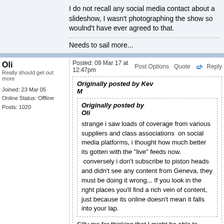I do not recall any social media contact about a slideshow, I wasn't photographing the show so woulnd't have ever agreed to that.
Needs to sail more...
Oli
Really should get out more
Joined: 23 Mar 05
Online Status: Offline
Posts: 1020
Posted: 09 Mar 17 at 12:47pm
Post Options  Quote  Reply
Originally posted by Kev M
Originally posted by Oli
strange i saw loads of coverage from various suppliers and class associations  on social media platforms, i thought how much better its gotten with the "live" feeds now.  conversely i don't subscribe to piston heads and didn't see any content from Geneva, they must be doing it wrong... If you look in the right places you'll find a rich vein of content, just because its online doesn't mean it falls into your lap.
Silly mo for thinking that I might be able to